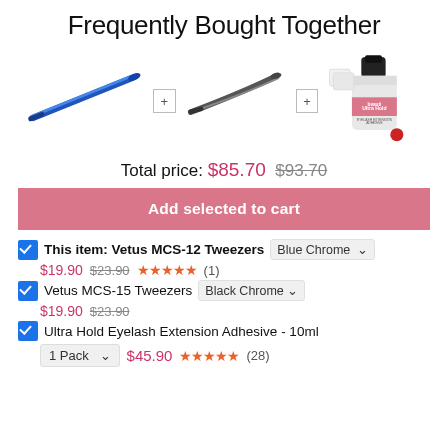Frequently Bought Together
[Figure (photo): Three product images side by side: blue chrome tweezers, curved black chrome tweezers, and a bottle of beauti Ultra Hold Eyelash Extension Adhesive]
Total price: $85.70 $93.70
Add selected to cart
This item: Vetus MCS-12 Tweezers  Blue Chrome  $19.90  $23.90  ★★★★★ (1)
Vetus MCS-15 Tweezers  Black Chrome  $19.90  $23.90
Ultra Hold Eyelash Extension Adhesive - 10ml  1 Pack  $45.90  ★★★★★ (28)